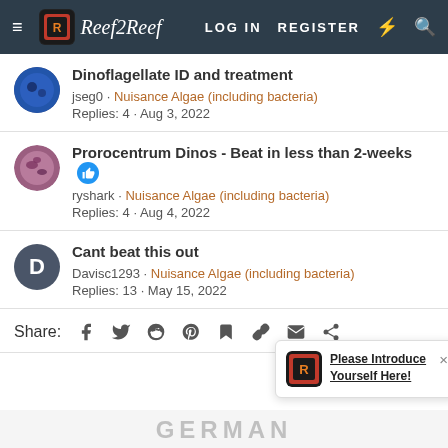Reef2Reef — LOG IN  REGISTER
Dinoflagellate ID and treatment
jseg0 · Nuisance Algae (including bacteria)
Replies: 4 · Aug 3, 2022
Prorocentrum Dinos - Beat in less than 2-weeks
ryshark · Nuisance Algae (including bacteria)
Replies: 4 · Aug 4, 2022
Cant beat this out
Davisc1293 · Nuisance Algae (including bacteria)
Replies: 13 · May 15, 2022
Share:
Please Introduce Yourself Here!